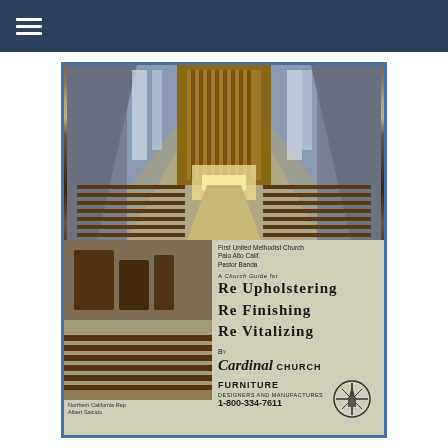Navigation menu (hamburger icon)
[Figure (photo): Brochure cover for Cardinal Church Furniture showing interior of First United Methodist Church, Palo Alto, Calif., Pastor Banda, with smaller photos of church furniture. Text reads: A Church Guide for Re Upholstering, Re Finishing, Re Vitalizing. By Cardinal Church Furniture, Designers and Manufactures, 1-800-334-7611. Northern California Rep: Albert Salcido.]